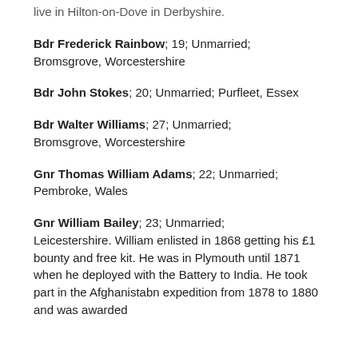live in Hilton-on-Dove in Derbyshire.
Bdr Frederick Rainbow; 19; Unmarried; Bromsgrove, Worcestershire
Bdr John Stokes; 20; Unmarried; Purfleet, Essex
Bdr Walter Williams; 27; Unmarried; Bromsgrove, Worcestershire
Gnr Thomas William Adams; 22; Unmarried; Pembroke, Wales
Gnr William Bailey; 23; Unmarried; Leicestershire. William enlisted in 1868 getting his £1 bounty and free kit. He was in Plymouth until 1871 when he deployed with the Battery to India. He took part in the Afghanistabn expedition from 1878 to 1880 and was awarded